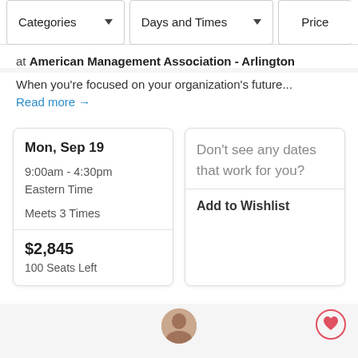Categories | Days and Times | Price
at American Management Association - Arlington
When you're focused on your organization's future...
Read more →
Mon, Sep 19
9:00am - 4:30pm
Eastern Time
Meets 3 Times
$2,845
100 Seats Left
Don't see any dates that work for you?
Add to Wishlist
[Figure (photo): Partial avatar photo of a person at the bottom of the page]
[Figure (illustration): Heart icon inside a circle outline (wishlist button)]